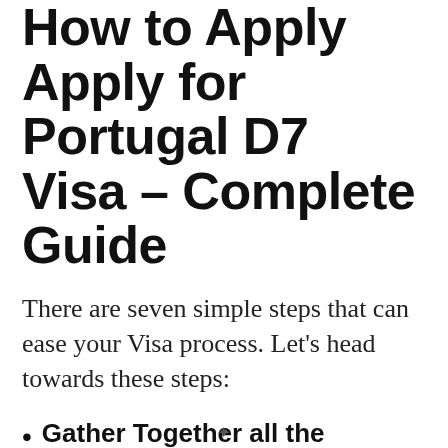How to Apply Apply for Portugal D7 Visa – Complete Guide
There are seven simple steps that can ease your Visa process. Let's head towards these steps:
Gather Together all the Documents:
We have already mentioned all the